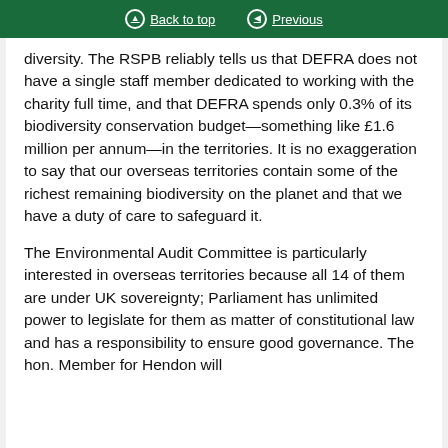Back to top | Previous
diversity. The RSPB reliably tells us that DEFRA does not have a single staff member dedicated to working with the charity full time, and that DEFRA spends only 0.3% of its biodiversity conservation budget—something like £1.6 million per annum—in the territories. It is no exaggeration to say that our overseas territories contain some of the richest remaining biodiversity on the planet and that we have a duty of care to safeguard it.
The Environmental Audit Committee is particularly interested in overseas territories because all 14 of them are under UK sovereignty; Parliament has unlimited power to legislate for them as matter of constitutional law and has a responsibility to ensure good governance. The hon. Member for Hendon will